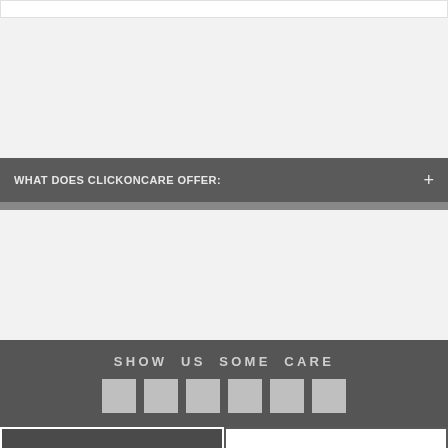WHAT DOES CLICKONCARE OFFER:
SHOW US SOME CARE
ADD TO CART
BUY NOW